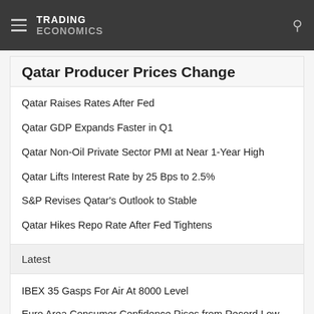TRADING ECONOMICS
Qatar Producer Prices Change
Qatar Raises Rates After Fed
Qatar GDP Expands Faster in Q1
Qatar Non-Oil Private Sector PMI at Near 1-Year High
Qatar Lifts Interest Rate by 25 Bps to 2.5%
S&P Revises Qatar's Outlook to Stable
Qatar Hikes Repo Rate After Fed Tightens
Latest
IBEX 35 Gasps For Air At 8000 Level
Euro Area Consumer Confidence Rises from Record Low